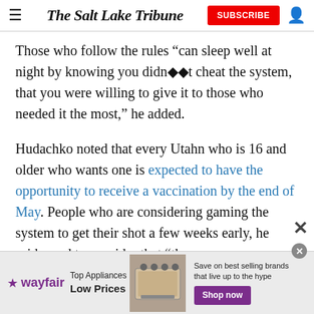The Salt Lake Tribune
Those who follow the rules “can sleep well at night by knowing you didn◆◆t cheat the system, that you were willing to give it to those who needed it the most,” he added.
Hudachko noted that every Utahn who is 16 and older who wants one is expected to have the opportunity to receive a vaccination by the end of May. People who are considering gaming the system to get their shot a few weeks early, he said, need to consider that “the person
[Figure (other): Wayfair advertisement banner: Top Appliances Low Prices with stove image, Save on best selling brands that live up to the hype, Shop now button]